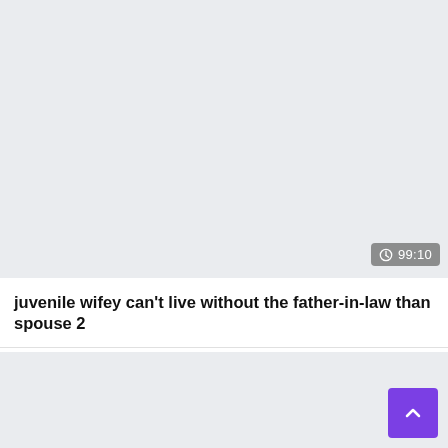[Figure (screenshot): Video thumbnail placeholder with light gray background and duration badge showing 99:10 in bottom-right corner]
juvenile wifey can't live without the father-in-law than spouse 2
[Figure (screenshot): Light gray content area below title with a purple scroll-to-top button in the bottom-right corner]